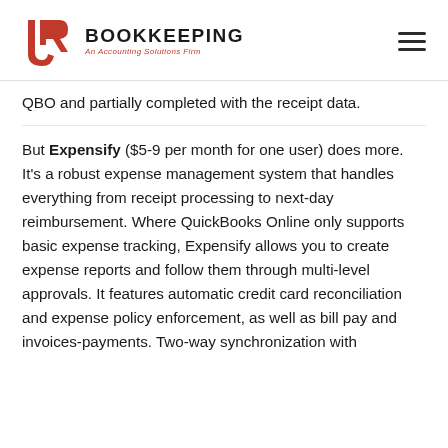[Figure (logo): JR Bookkeeping logo — red stylized JR monogram with 'BOOKKEEPING' in bold black and 'An Accounting Solutions Firm' in red italic beneath]
QBO and partially completed with the receipt data.
But Expensify ($5-9 per month for one user) does more. It’s a robust expense management system that handles everything from receipt processing to next-day reimbursement. Where QuickBooks Online only supports basic expense tracking, Expensify allows you to create expense reports and follow them through multi-level approvals. It features automatic credit card reconciliation and expense policy enforcement, as well as bill pay and invoices-payments. Two-way synchronization with